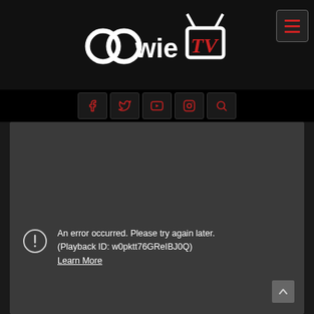[Figure (logo): OowieTV logo — white text 'oowie' with two interlocked circles for the double-o, beside a stylized red TV icon with antenna]
[Figure (infographic): Navigation bar with hamburger menu button (red three-line icon on dark background with border)]
[Figure (infographic): Social media icon bar — Facebook, Twitter, YouTube, Instagram, Search icons in dark red on black background]
[Figure (screenshot): Dark grey video player area showing YouTube error: circle with exclamation icon, 'An error occurred. Please try again later. (Playback ID: w0pktt76GReIBJ0Q)' and 'Learn More' underlined link]
An error occurred. Please try again later. (Playback ID: w0pktt76GReIBJ0Q) Learn More